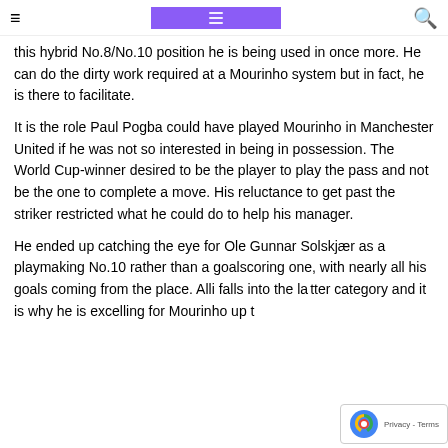≡ [Logo] 🔍
this hybrid No.8/No.10 position he is being used in once more. He can do the dirty work required at a Mourinho system but in fact, he is there to facilitate.
It is the role Paul Pogba could have played Mourinho in Manchester United if he was not so interested in being in possession. The World Cup-winner desired to be the player to play the pass and not be the one to complete a move. His reluctance to get past the striker restricted what he could do to help his manager.
He ended up catching the eye for Ole Gunnar Solskjær as a playmaking No.10 rather than a goalscoring one, with nearly all his goals coming from the place. Alli falls into the latter category and it is why he is excelling for Mourinho up t